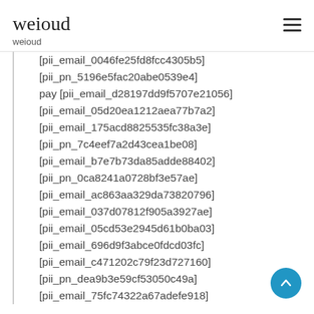weioud
weioud
[pii_email_0046fe25fd8fcc4305b5]
[pii_pn_5196e5fac20abe0539e4]
pay [pii_email_d28197dd9f5707e21056]
[pii_email_05d20ea1212aea77b7a2]
[pii_email_175acd8825535fc38a3e]
[pii_pn_7c4eef7a2d43cea1be08]
[pii_email_b7e7b73da85adde88402]
[pii_pn_0ca8241a0728bf3e57ae]
[pii_email_ac863aa329da73820796]
[pii_email_037d07812f905a3927ae]
[pii_email_05cd53e2945d61b0ba03]
[pii_email_696d9f3abce0fdcd03fc]
[pii_email_c471202c79f23d727160]
[pii_pn_dea9b3e59cf53050c49a]
[pii_email_75fc74322a67adefe918]